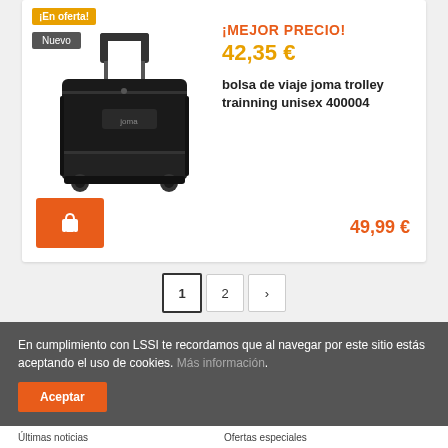[Figure (photo): Black Joma trolley travel bag with wheels and handles, shown on a white product card background]
¡En oferta!
Nuevo
¡MEJOR PRECIO!
42,35 €
bolsa de viaje joma trolley trainning unisex 400004
49,99 €
1 2 >
En cumplimiento con LSSI te recordamos que al navegar por este sitio estás aceptando el uso de cookies. Más información.
Aceptar
Últimas noticias   Ofertas especiales